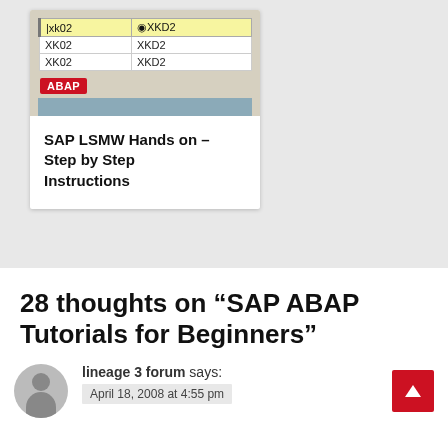[Figure (screenshot): SAP table screenshot showing XK02 and XKD2 entries with highlighted first row, ABAP tag label, and blue footer bar]
SAP LSMW Hands on – Step by Step Instructions
28 thoughts on “SAP ABAP Tutorials for Beginners”
lineage 3 forum says:
April 18, 2008 at 4:55 pm